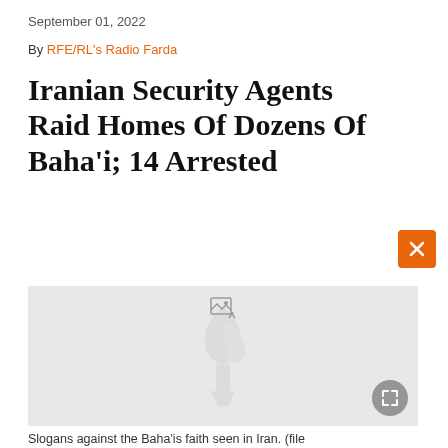September 01, 2022
By RFE/RL's Radio Farda
Iranian Security Agents Raid Homes Of Dozens Of Baha'i; 14 Arrested
[Figure (photo): Gray placeholder image with RFE/RL watermark logo (torch and flame), a broken image icon in the top center, and an expand button (gray circle with arrows icon) in the bottom right corner.]
Slogans against the Baha'is faith seen in Iran. (file